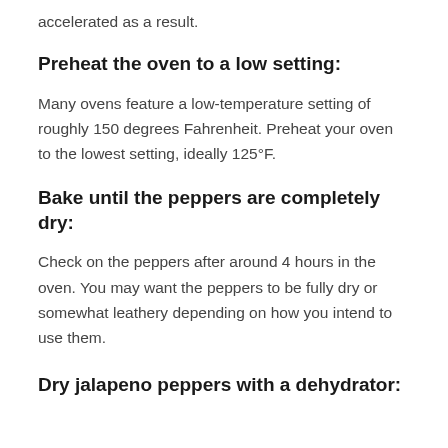accelerated as a result.
Preheat the oven to a low setting:
Many ovens feature a low-temperature setting of roughly 150 degrees Fahrenheit. Preheat your oven to the lowest setting, ideally 125°F.
Bake until the peppers are completely dry:
Check on the peppers after around 4 hours in the oven. You may want the peppers to be fully dry or somewhat leathery depending on how you intend to use them.
Dry jalapeno peppers with a dehydrator: